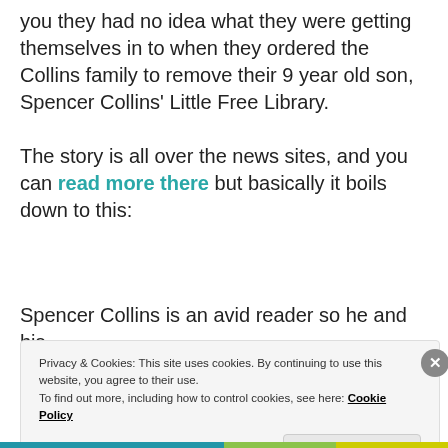you they had no idea what they were getting themselves in to when they ordered the Collins family to remove their 9 year old son, Spencer Collins' Little Free Library.
The story is all over the news sites, and you can read more there but basically it boils down to this:
Spencer Collins is an avid reader so he and his
Privacy & Cookies: This site uses cookies. By continuing to use this website, you agree to their use.
To find out more, including how to control cookies, see here: Cookie Policy
Close and accept